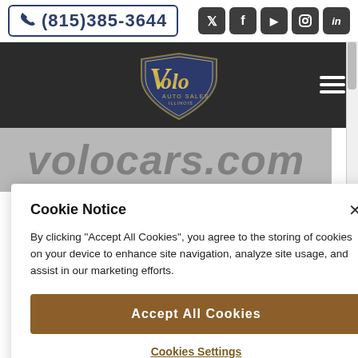[Figure (screenshot): Volo Auto Sales website header showing phone number (815)385-3644 with border, social media icons (Twitter, Facebook, YouTube, Instagram, LinkedIn), dark navigation bar with Volo Auto Sales logo in gold/yellow script, and volocars.com watermark text on gray background]
Cookie Notice
By clicking "Accept All Cookies", you agree to the storing of cookies on your device to enhance site navigation, analyze site usage, and assist in our marketing efforts.
Accept All Cookies
Cookies Settings
INFO